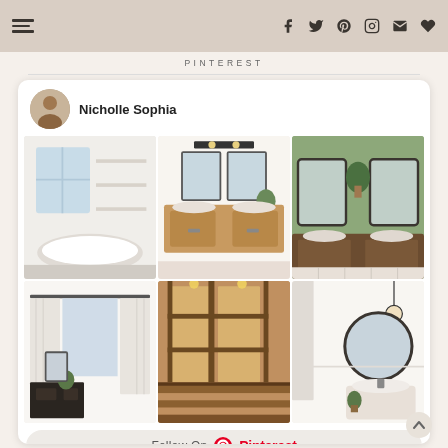Navigation and social icons header bar
PINTEREST
[Figure (screenshot): Pinterest profile widget for Nicholle Sophia showing a grid of 6 interior design photos (bathrooms, bedroom, staircase) and a Follow On Pinterest button]
Nicholle Sophia
Follow On Pinterest